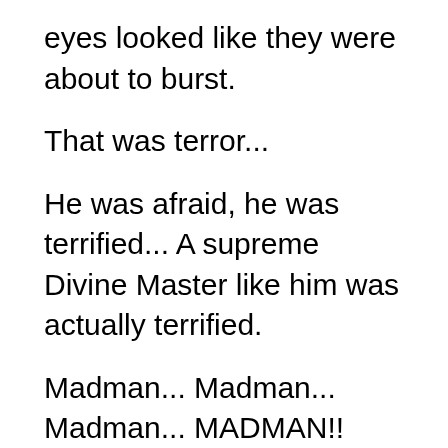eyes looked like they were about to burst.
That was terror...
He was afraid, he was terrified... A supreme Divine Master like him was actually terrified.
Madman... Madman... Madman... MADMAN!!
There were truly demons living in this world and this demon was